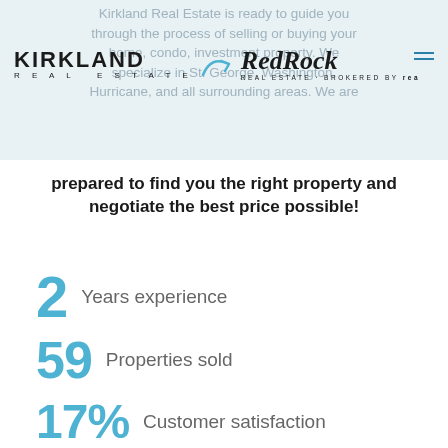Kirkland Real Estate is ready to guide you through the process of selling or buying your home, condo, investment property. We specialize in St. George, Washington, Hurricane, and all surrounding areas.
[Figure (logo): Kirkland Real Estate logo on the left with arrow divider, and Red Rock Real Estate brokered by real logo on the right]
prepared to find you the right property and negotiate the best price possible!
2  Years experience
59  Properties sold
17%  Customer satisfaction